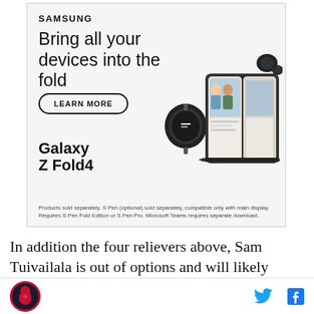[Figure (illustration): Samsung advertisement for Galaxy Z Fold4. Shows Samsung logo, headline 'Bring all your devices into the fold', a 'LEARN MORE' button, image of Galaxy Watch, Galaxy Z Fold4 phone open showing video call, earbuds and S Pen stylus. Text: 'Galaxy Z Fold4'. Disclaimer: 'Products sold separately. S Pen (optional) sold separately, compatible only with main display. Requires S Pen Fold Edition or S Pen Pro. Microsoft Teams requires separate download.']
In addition the four relievers above, Sam Tuivailala is out of options and will likely make the club. After that, Matt Bowman, John Brebbia, John Gant, Ryan Sherriff all have options. Mike Mayers, Josh Lucas, Rowan ...
SB Nation logo | Twitter bird icon | Facebook f icon